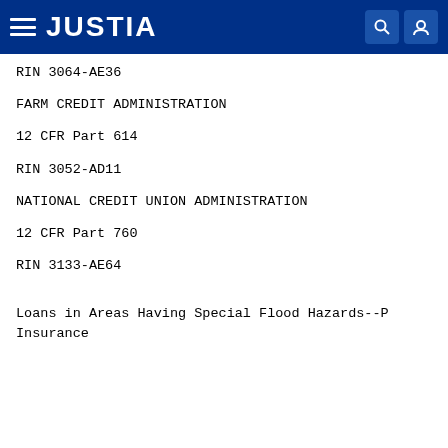JUSTIA
RIN 3064-AE36
FARM CREDIT ADMINISTRATION
12 CFR Part 614
RIN 3052-AD11
NATIONAL CREDIT UNION ADMINISTRATION
12 CFR Part 760
RIN 3133-AE64
Loans in Areas Having Special Flood Hazards--P Insurance